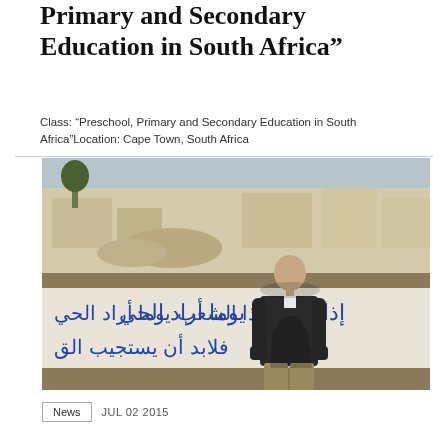Primary and Secondary Education in South Africa”
Class: “Preschool, Primary and Secondary Education in South Africa”Location: Cape Town, South Africa
[Figure (photo): A young man standing in front of a white wall with Arabic graffiti text, with stone ruins or sculptures visible in the background. The man is dressed in a dark jacket and khaki pants.]
News   JUL 02 2015